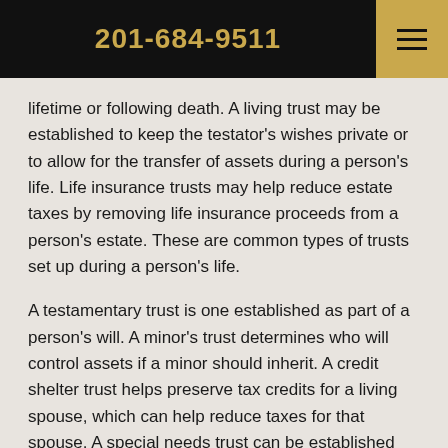201-684-9511
lifetime or following death. A living trust may be established to keep the testator's wishes private or to allow for the transfer of assets during a person's life. Life insurance trusts may help reduce estate taxes by removing life insurance proceeds from a person's estate. These are common types of trusts set up during a person's life.
A testamentary trust is one established as part of a person's will. A minor's trust determines who will control assets if a minor should inherit. A credit shelter trust helps preserve tax credits for a living spouse, which can help reduce taxes for that spouse. A special needs trust can be established